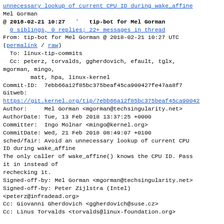unnecessary lookup of current CPU ID during wake_affine
Mel Gorman
@ 2018-02-21 10:27  `  tip-bot for Mel Gorman
0 siblings, 0 replies; 22+ messages in thread
From: tip-bot for Mel Gorman @ 2018-02-21 10:27 UTC
(permalink / raw)
  To: linux-tip-commits
  Cc: peterz, torvalds, ggherdovich, efault, tglx,
mgorman, mingo,
        matt, hpa, linux-kernel
Commit-ID:  7ebb66a12f85bc375beaf45ca900427fe47aa8f7
Gitweb:
https://git.kernel.org/tip/7ebb66a12f85bc375beaf45ca90042
Author:     Mel Gorman <mgorman@techsingularity.net>
AuthorDate: Tue, 13 Feb 2018 13:37:25 +0000
Committer:  Ingo Molnar <mingo@kernel.org>
CommitDate: Wed, 21 Feb 2018 08:49:07 +0100
sched/fair: Avoid an unnecessary lookup of current CPU ID during wake_affine
The only caller of wake_affine() knows the CPU ID. Pass it in instead of
rechecking it.
Signed-off-by: Mel Gorman <mgorman@techsingularity.net>
Signed-off-by: Peter Zijlstra (Intel)
<peterz@infradead.org>
Cc: Giovanni Gherdovich <ggherdovich@suse.cz>
Cc: Linus Torvalds <torvalds@linux-foundation.org>